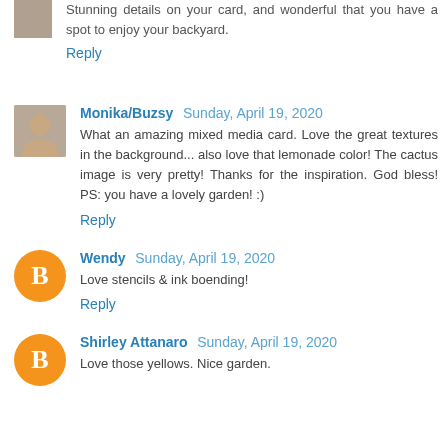Stunning details on your card, and wonderful that you have a spot to enjoy your backyard.
Reply
[Figure (photo): Avatar photo of Monika/Buzsy]
Monika/Buzsy  Sunday, April 19, 2020
What an amazing mixed media card. Love the great textures in the background... also love that lemonade color! The cactus image is very pretty! Thanks for the inspiration. God bless! PS: you have a lovely garden! :)
Reply
[Figure (logo): Blogger B icon avatar for Wendy]
Wendy  Sunday, April 19, 2020
Love stencils & ink boending!
Reply
[Figure (logo): Blogger B icon avatar for Shirley Attanaro]
Shirley Attanaro  Sunday, April 19, 2020
Love those yellows. Nice garden.